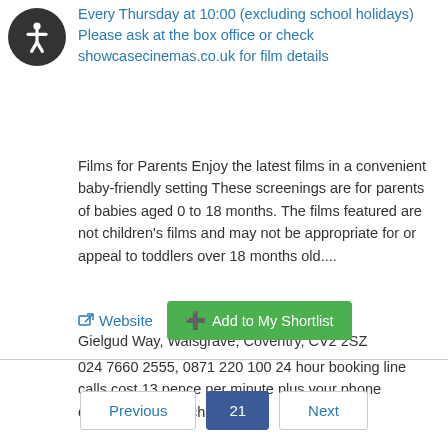Every Thursday at 10:00 (excluding school holidays) Please ask at the box office or check showcasecinemas.co.uk for film details
Films for Parents Enjoy the latest films in a convenient baby-friendly setting These screenings are for parents of babies aged 0 to 18 months. The films featured are not children's films and may not be appropriate for or appeal to toddlers over 18 months old....
Gielgud Way, Walsgrave, Coventry, CV2 2SZ
024 7660 2555, 0871 220 100 24 hour booking line calls cost 13 pence per minute plus your phone company access charge
Website | Add to My Shortlist
Previous | 21 | Next